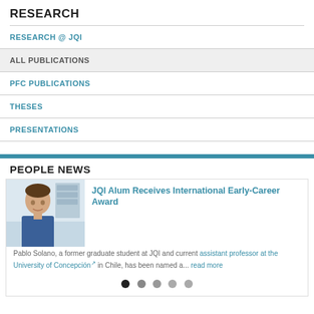RESEARCH
RESEARCH @ JQI
ALL PUBLICATIONS
PFC PUBLICATIONS
THESES
PRESENTATIONS
PEOPLE NEWS
[Figure (photo): Photo of Pablo Solano, a young man in a blue shirt in a laboratory setting]
JQI Alum Receives International Early-Career Award
Pablo Solano, a former graduate student at JQI and current assistant professor at the University of Concepción in Chile, has been named a... read more